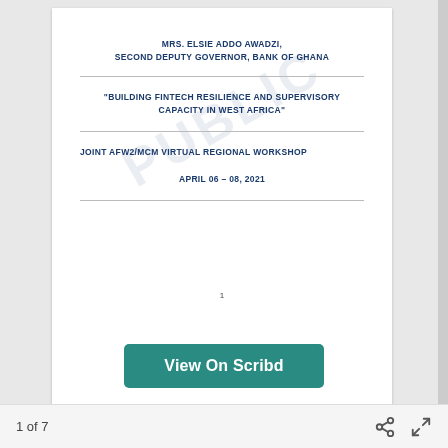MRS. ELSIE ADDO AWADZI, SECOND DEPUTY GOVERNOR, BANK OF GHANA
“BUILDING FINTECH RESILIENCE AND SUPERVISORY CAPACITY IN WEST AFRICA”
JOINT AFW2/MCM VIRTUAL REGIONAL WORKSHOP
APRIL 06 – 08, 2021
1
[Figure (other): View On Scribd button]
1 of 7